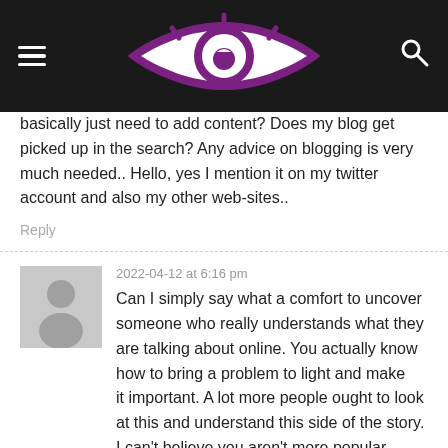[navigation header with logo]
basically just need to add content? Does my blog get picked up in the search? Any advice on blogging is very much needed.. Hello, yes I mention it on my twitter account and also my other web-sites..
Reply
2022-04-12 at 6:16 pm
Can I simply say what a comfort to uncover someone who really understands what they are talking about online. You actually know how to bring a problem to light and make
it important. A lot more people ought to look at this and understand this side of the story.
I can't believe you aren't more popular because you definitely possess the gift.
Reply